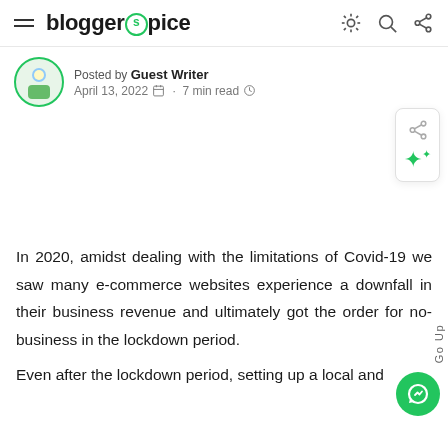bloggerspice — navigation header with hamburger menu, logo, and icons
Posted by Guest Writer
April 13, 2022 · 7 min read
In 2020, amidst dealing with the limitations of Covid-19 we saw many e-commerce websites experience a downfall in their business revenue and ultimately got the order for no-business in the lockdown period.
Even after the lockdown period, setting up a local and...